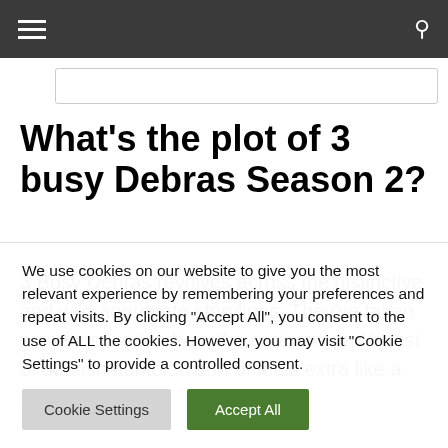Navigation bar with hamburger menu and search icon
What's the plot of 3 busy Debras Season 2?
3 Busy Debras revolves across the distinctive and wild aggregate storylines. They've taken some inspiration from the cartoons and boast of darkish humor. It sort of feels extra like a sitcom that you
We use cookies on our website to give you the most relevant experience by remembering your preferences and repeat visits. By clicking "Accept All", you consent to the use of ALL the cookies. However, you may visit "Cookie Settings" to provide a controlled consent.
Cookie Settings
Accept All